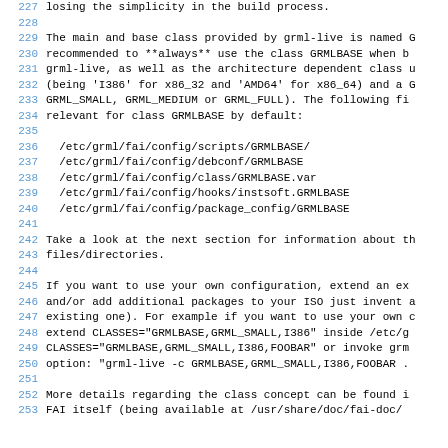227 losing the simplicity in the build process.
228 
229 The main and base class provided by grml-live is named G
230 recommended to **always** use the class GRMLBASE when b
231 grml-live, as well as the architecture dependent class u
232 (being 'I386' for x86_32 and 'AMD64' for x86_64) and a G
233 GRML_SMALL, GRML_MEDIUM or GRML_FULL). The following fi
234 relevant for class GRMLBASE by default:
235 
236   /etc/grml/fai/config/scripts/GRMLBASE/
237   /etc/grml/fai/config/debconf/GRMLBASE
238   /etc/grml/fai/config/class/GRMLBASE.var
239   /etc/grml/fai/config/hooks/instsoft.GRMLBASE
240   /etc/grml/fai/config/package_config/GRMLBASE
241 
242 Take a look at the next section for information about th
243 files/directories.
244 
245 If you want to use your own configuration, extend an ex
246 and/or add additional packages to your ISO just invent a
247 existing one). For example if you want to use your own c
248 extend CLASSES="GRMLBASE,GRML_SMALL,I386" inside /etc/g
249 CLASSES="GRMLBASE,GRML_SMALL,I386,FOOBAR" or invoke grm
250 option: "grml-live -c GRMLBASE,GRML_SMALL,I386,FOOBAR .
251 
252 More details regarding the class concept can be found i
253 FAI itself (being available at /usr/share/doc/fai-doc/